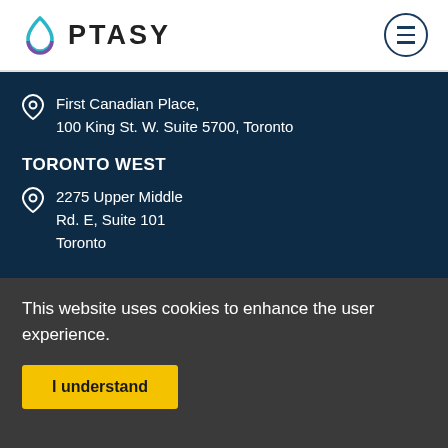OPTASY
First Canadian Place, 100 King St. W. Suite 5700, Toronto
TORONTO WEST
2275 Upper Middle Rd. E, Suite 101 Toronto
NEW YORK
This website uses cookies to enhance the user experience.
I understand